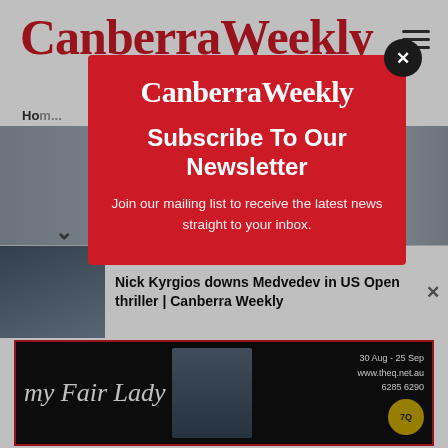[Figure (screenshot): Canberra Weekly website screenshot showing the header logo in red text, hamburger menu, breadcrumb navigation, and background article images]
[Figure (screenshot): Modal popup overlay on the Canberra Weekly website with newsletter subscription prompt on a red background with close button]
Canberra Weekly
Subscribe To Our Newsletter
Join our mailing list to receive the latest news straight to your inbox.
Nick Kyrgios downs Medvedev in US Open thriller | Canberra Weekly
[Figure (photo): Nick Kyrgios photo thumbnail in notification bar]
[Figure (illustration): My Fair Lady advertisement banner at the bottom of the page showing a woman in a big hat with show dates 30 Aug - 25 Sep, www.theq.net.au, 6285 6290]